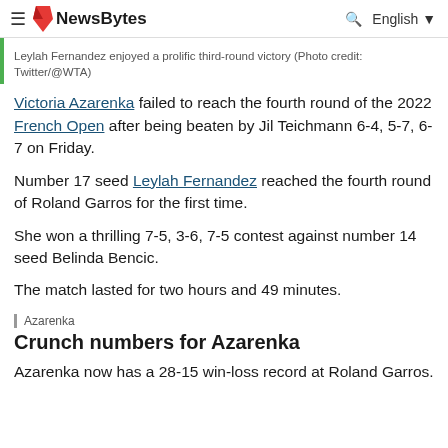NewsBytes | English
Leylah Fernandez enjoyed a prolific third-round victory (Photo credit: Twitter/@WTA)
Victoria Azarenka failed to reach the fourth round of the 2022 French Open after being beaten by Jil Teichmann 6-4, 5-7, 6-7 on Friday.
Number 17 seed Leylah Fernandez reached the fourth round of Roland Garros for the first time.
She won a thrilling 7-5, 3-6, 7-5 contest against number 14 seed Belinda Bencic.
The match lasted for two hours and 49 minutes.
Crunch numbers for Azarenka
Azarenka now has a 28-15 win-loss record at Roland Garros.